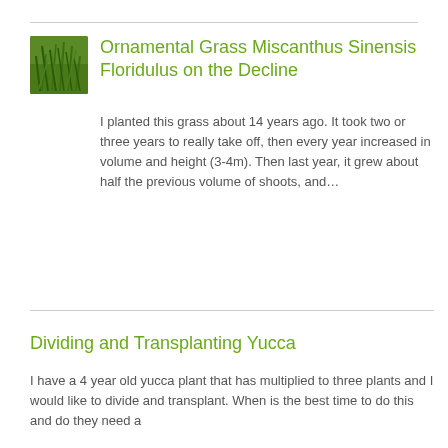[Figure (photo): Thumbnail photo of ornamental grass (Miscanthus Sinensis Floridulus), green grassy plant close-up]
Ornamental Grass Miscanthus Sinensis Floridulus on the Decline
I planted this grass about 14 years ago. It took two or three years to really take off, then every year increased in volume and height (3-4m). Then last year, it grew about half the previous volume of shoots, and…
Dividing and Transplanting Yucca
I have a 4 year old yucca plant that has multiplied to three plants and I would like to divide and transplant. When is the best time to do this and do they need a